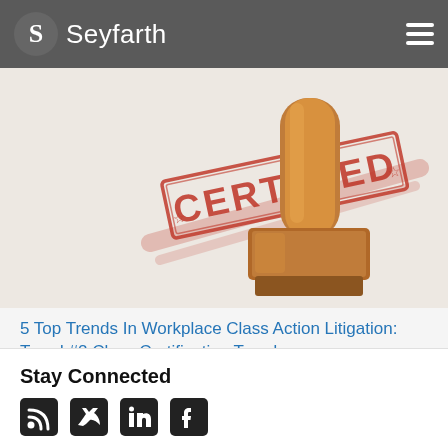Seyfarth
[Figure (photo): A wooden rubber stamp with red ink impression reading CERTIFIED on a white background]
5 Top Trends In Workplace Class Action Litigation: Trend #2 Class Certification Trends
January 11, 2022
Stay Connected